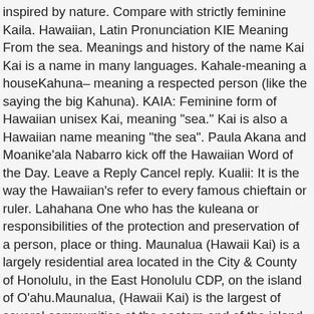inspired by nature. Compare with strictly feminine Kaila. Hawaiian, Latin Pronunciation KIE Meaning From the sea. Meanings and history of the name Kai Kai is a name in many languages. Kahale-meaning a houseKahuna– meaning a respected person (like the saying the big Kahuna). KAIA: Feminine form of Hawaiian unisex Kai, meaning "sea." Kai is also a Hawaiian name meaning "the sea". Paula Akana and Moanike'ala Nabarro kick off the Hawaiian Word of the Day. Leave a Reply Cancel reply. Kualii: It is the way the Hawaiian's refer to every famous chieftain or ruler. Lahahana One who has the kuleana or responsibilities of the protection and preservation of a person, place or thing. Maunalua (Hawaii Kai) is a largely residential area located in the City & County of Honolulu, in the East Honolulu CDP, on the island of O'ahu.Maunalua, (Hawaii Kai) is the largest of several communities at the eastern end of the island. View a Random NameRandom. Hawaiian names are some of the most beautiful names out there. This name means the "movement of the sea" or "the roar and roll of the seas". Name meaning